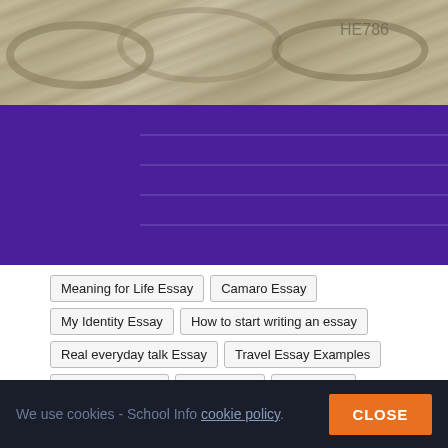[Figure (photo): Hero image showing US dollar bills at top and a dark purple overlay with stair/steps pattern below]
Meaning for Life Essay
Camaro Essay
My Identity Essay
How to start writing an essay
Real everyday talk Essay
Travel Essay Examples
Refutation essay
Holla Essay
Stanislav...
Why so mad Essay
Links
We use cookies - School Info cookie policy . CLOSE